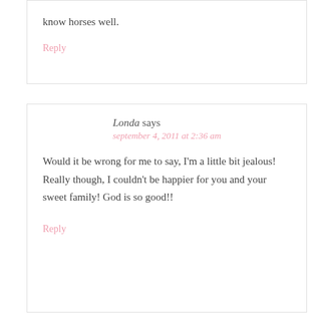know horses well.
Reply
Londa says
september 4, 2011 at 2:36 am
Would it be wrong for me to say, I'm a little bit jealous! Really though, I couldn't be happier for you and your sweet family! God is so good!!
Reply